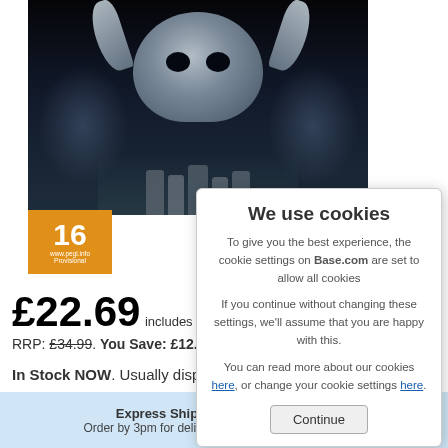[Figure (photo): Video game box art featuring a large icy skull monster with horns looming over a group of warriors. Dark, icy blue-gray color scheme.]
[Figure (illustration): PEGI 16 age rating badge in orange with www.pegi.info and 'Provisional' text below.]
£22.69 includes FR...
RRP: £34.99. You Save: £12.3...
In Stock NOW. Usually dispatc...
Express Shipping Available – £5.99
Order by 3pm for delivery by Tuesday, 06 September
We use cookies
To give you the best experience, the cookie settings on Base.com are set to allow all cookies
If you continue without changing these settings, we'll assume that you are happy with this.
You can read more about our cookies here, or change your cookie settings here.
Continue